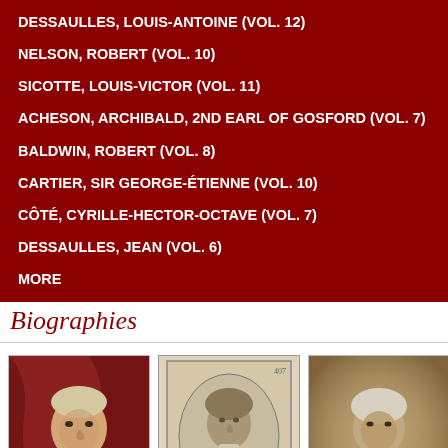DESSAULLES, LOUIS-ANTOINE (VOL. 12)
NELSON, ROBERT (VOL. 10)
SICOTTE, LOUIS-VICTOR (VOL. 11)
ACHESON, ARCHIBALD, 2ND EARL OF GOSFORD (VOL. 7)
BALDWIN, ROBERT (VOL. 8)
CARTIER, SIR GEORGE-ÉTIENNE (VOL. 10)
CÔTÉ, CYRILLE-HECTOR-OCTAVE (VOL. 7)
DESSAULLES, JEAN (VOL. 6)
MORE
Biographies
[Figure (photo): Portrait painting of a man in formal 19th century attire against a red drapery background]
[Figure (photo): Engraving or etching portrait of a man in an oval frame, 19th century style]
[Figure (photo): Sepia-toned photograph of an elderly man with white beard, 19th century]